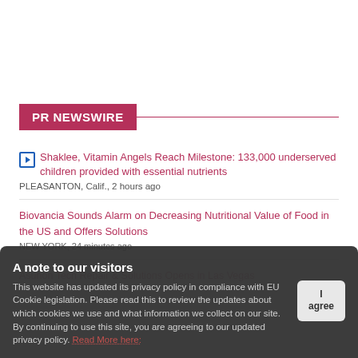PR NEWSWIRE
Shaklee, Vitamin Angels Reach Milestone: 133,000 underserved children provided with essential nutrients
PLEASANTON, Calif., 2 hours ago
Biovancia Sounds Alarm on Decreasing Nutritional Value of Food in the US and Offers Solutions
NEW YORK, 24 minutes ago
Asurion Tech Repair & Solutions Opens in Las Vegas
A note to our visitors
This website has updated its privacy policy in compliance with EU Cookie legislation. Please read this to review the updates about which cookies we use and what information we collect on our site. By continuing to use this site, you are agreeing to our updated privacy policy. Read More here: